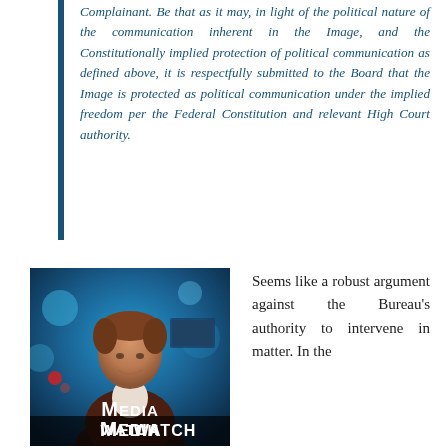Complainant. Be that as it may, in light of the political nature of the communication inherent in the Image, and the Constitutionally implied protection of political communication as defined above, it is respectfully submitted to the Board that the Image is protected as political communication under the implied freedom per the Federal Constitution and relevant High Court authority.
[Figure (photo): Photo of a man in a suit in front of a blue TV studio background with 'MEDIA WATCH' text overlay at the bottom]
Seems like a robust argument against the Bureau's authority to intervene in matter. In the